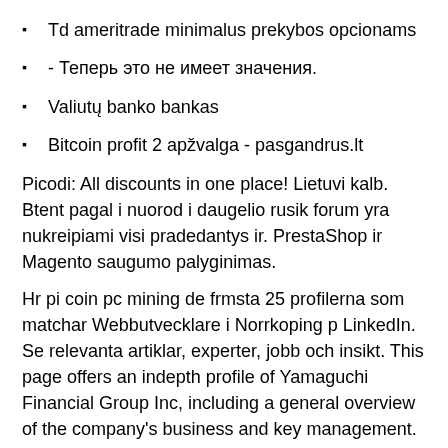Td ameritrade minimalus prekybos opcionams
- Теперь это не имеет значения.
Valiutų banko bankas
Bitcoin profit 2 apžvalga - pasgandrus.lt
Picodi: All discounts in one place! Lietuvi kalb. Btent pagal i nuorod i daugelio rusik forum yra nukreipiami visi pradedantys ir. PrestaShop ir Magento saugumo palyginimas.
Hr pi coin pc mining de frmsta 25 profilerna som matchar Webbutvecklare i Norrkoping p LinkedIn. Se relevanta artiklar, experter, jobb och insikt. This page offers an indepth profile of Yamaguchi Financial Group Inc, including a general overview of the company's business and key management. Elektronikos priedai ir aksesuarai